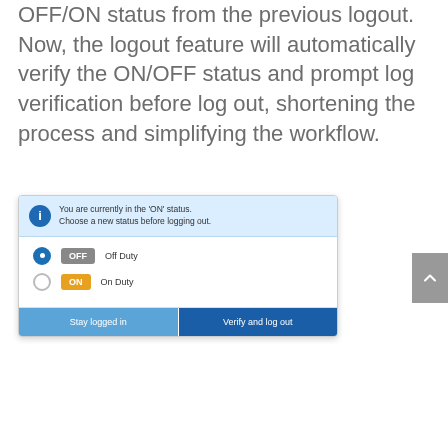OFF/ON status from the previous logout. Now, the logout feature will automatically verify the ON/OFF status and prompt log verification before log out, shortening the process and simplifying the workflow.
[Figure (screenshot): A dialog box showing logout status verification. Info banner says 'You are currently in the ON status. Choose a new status before logging out.' Two options: OFF (Off Duty, selected) and ON (On Duty). Two buttons: 'Stay logged in' and 'Verify and log out'.]